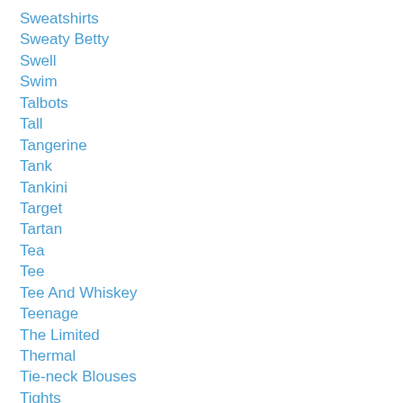Sweatshirts
Sweaty Betty
Swell
Swim
Talbots
Tall
Tangerine
Tank
Tankini
Target
Tartan
Tea
Tee
Tee And Whiskey
Teenage
The Limited
Thermal
Tie-neck Blouses
Tights
Timberland